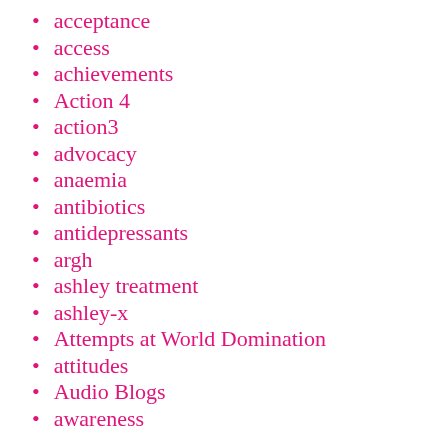acceptance
access
achievements
Action 4
action3
advocacy
anaemia
antibiotics
antidepressants
argh
ashley treatment
ashley-x
Attempts at World Domination
attitudes
Audio Blogs
awareness